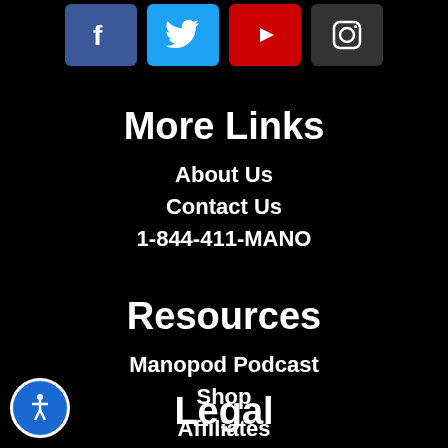[Figure (other): Social media icons row: Facebook (blue), Twitter (blue), YouTube (red), Instagram (dark gray)]
More Links
About Us
Contact Us
1-844-411-MANO
Resources
Manopod Podcast
Shop
Affiliates
Legal
[Figure (other): Accessibility button (circular blue icon with wheelchair/person symbol)]